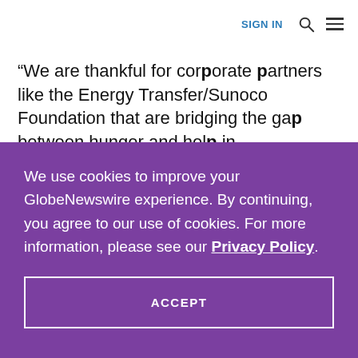SIGN IN
“We are thankful for corporate partners like the Energy Transfer/Sunoco Foundation that are bridging the gap between hunger and help in
We use cookies to improve your GlobeNewswire experience. By continuing, you agree to our use of cookies. For more information, please see our Privacy Policy.
ACCEPT